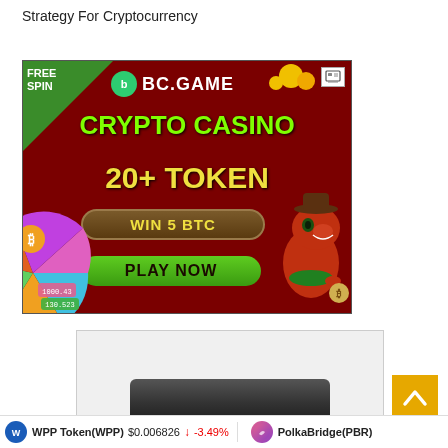Strategy For Cryptocurrency
[Figure (photo): BC.GAME crypto casino advertisement banner with red background, free spin offer, crypto casino 20+ token promotion, win 5 BTC, play now button, spin wheel on left, cartoon cowboy character on right]
[Figure (photo): Partial image showing bottom of a dark tablet or device on light gray background]
WPP Token(WPP) $0.006826 ↓ -3.49% PolkaBridge(PBR)